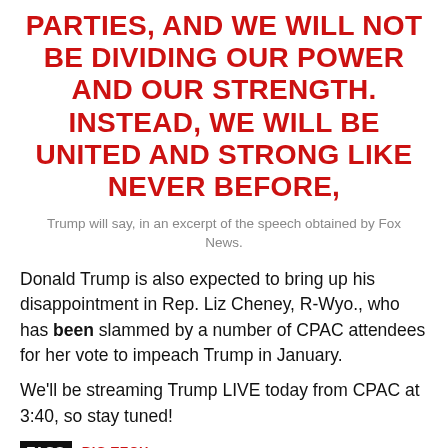PARTIES, AND WE WILL NOT BE DIVIDING OUR POWER AND OUR STRENGTH. INSTEAD, WE WILL BE UNITED AND STRONG LIKE NEVER BEFORE,
Trump will say, in an excerpt of the speech obtained by Fox News.
Donald Trump is also expected to bring up his disappointment in Rep. Liz Cheney, R-Wyo., who has been slammed by a number of CPAC attendees for her vote to impeach Trump in January.
We'll be streaming Trump LIVE today from CPAC at 3:40, so stay tuned!
TAGS  BIG TECH